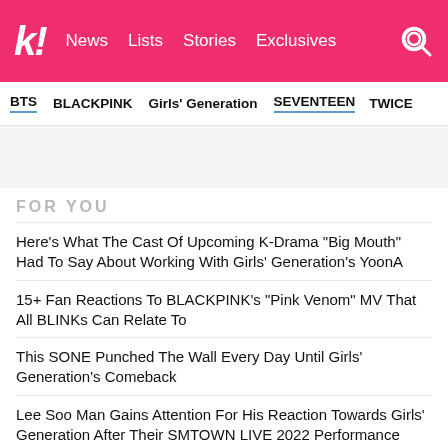k! News Lists Stories Exclusives
BTS  BLACKPINK  Girls' Generation  SEVENTEEN  TWICE
FOR YOU
Here's What The Cast Of Upcoming K-Drama "Big Mouth" Had To Say About Working With Girls' Generation's YoonA
15+ Fan Reactions To BLACKPINK's "Pink Venom" MV That All BLINKs Can Relate To
This SONE Punched The Wall Every Day Until Girls' Generation's Comeback
Lee Soo Man Gains Attention For His Reaction Towards Girls' Generation After Their SMTOWN LIVE 2022 Performance